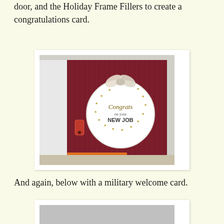I have used the Holiday Frame as a base for my half-door, and the Holiday Frame Fillers to create a congratulations card.
[Figure (photo): A handmade congratulations card with a dark red/maroon striped background panel. A large white circular ornament shape is mounted on the card with gold stars arranged in a circle around the text 'Congrats on your NEW JOB'. A silver/white ribbon bow sits at the top of the ornament. A small red door plate/knocker embellishment is visible on the left side of the card. A Simon Says Stamp logo appears at the bottom of the image.]
And again, below with a military welcome card.
[Figure (photo): Partial view of a military welcome card, showing the top portion with a gray/silver background.]